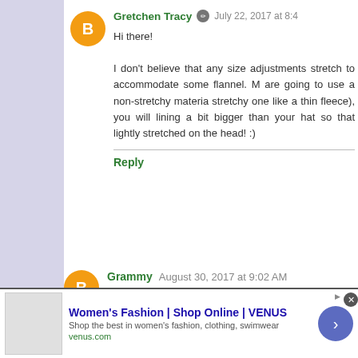Gretchen Tracy  July 22, 2017 at 8:4...
Hi there!

I don't believe that any size adjustments stretch to accommodate some flannel. M... are going to use a non-stretchy materia... stretchy one like a thin fleece), you will lining a bit bigger than your hat so that lightly stretched on the head! :)
Reply
Grammy  August 30, 2017 at 9:02 AM
How is this pattern adapted to knit for other famil... mom and dad. Thanks!
[Figure (screenshot): Advertisement banner for Women's Fashion | Shop Online | VENUS. Shows ad title, description 'Shop the best in women's fashion, clothing, swimwear', URL venus.com, a forward arrow button, close button, and a small product image.]